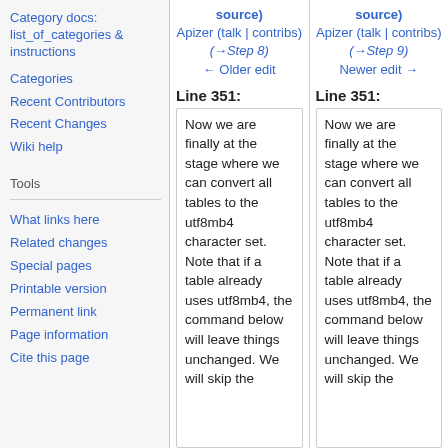Category docs: list_of_categories & instructions
Categories
Recent Contributors
Recent Changes
Wiki help
Tools
What links here
Related changes
Special pages
Printable version
Permanent link
Page information
Cite this page
source) Apizer (talk | contribs) (→Step 8) ← Older edit
source) Apizer (talk | contribs) (→Step 9) Newer edit →
Line 351:
Line 351:
Now we are finally at the stage where we can convert all tables to the utf8mb4 character set. Note that if a table already uses utf8mb4, the command below will leave things unchanged. We will skip the
Now we are finally at the stage where we can convert all tables to the utf8mb4 character set. Note that if a table already uses utf8mb4, the command below will leave things unchanged. We will skip the